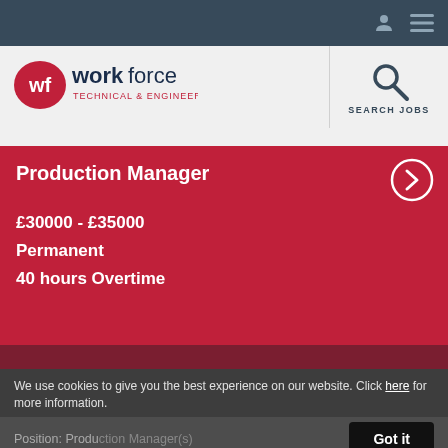Workforce Technical & Engineering — navigation bar
[Figure (logo): Workforce Technical & Engineering logo with red speech bubble 'wf' icon and blue/dark text]
[Figure (infographic): Search Jobs icon with magnifying glass and label SEARCH JOBS]
Production Manager
£30000 - £35000
Permanent
40 hours Overtime
We use cookies to give you the best experience on our website. Click here for more information.
Position: Production Manager (...)
Area: Redditch